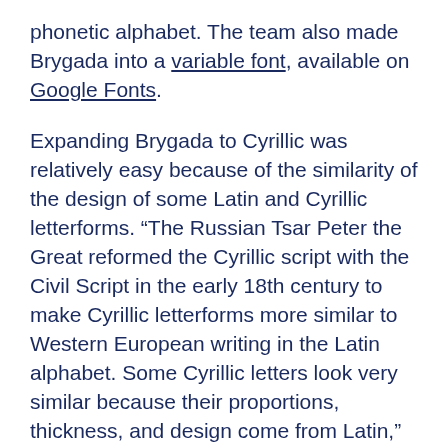phonetic alphabet. The team also made Brygada into a variable font, available on Google Fonts.
Expanding Brygada to Cyrillic was relatively easy because of the similarity of the design of some Latin and Cyrillic letterforms. “The Russian Tsar Peter the Great reformed the Cyrillic script with the Civil Script in the early 18th century to make Cyrillic letterforms more similar to Western European writing in the Latin alphabet. Some Cyrillic letters look very similar because their proportions, thickness, and design come from Latin,” said Kosmynka.
To make the Cyrillic “Й” (pronounced as “ee” in English), a type designer can take the uppercase Latin “H,” remove the horizontal bar in the middle, and add a diagonal bar.